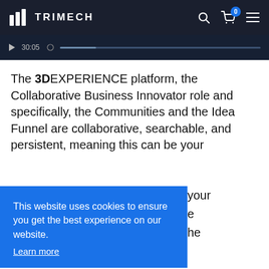TRIMECH
[Figure (screenshot): Video player bar showing timestamp 30:05 and progress bar on dark background]
The 3DEXPERIENCE platform, the Collaborative Business Innovator role and specifically, the Communities and the Idea Funnel are collaborative, searchable, and persistent, meaning this can be your
This website uses cookies to ensure you get the best experience on our website. Learn more
Allow Cookies